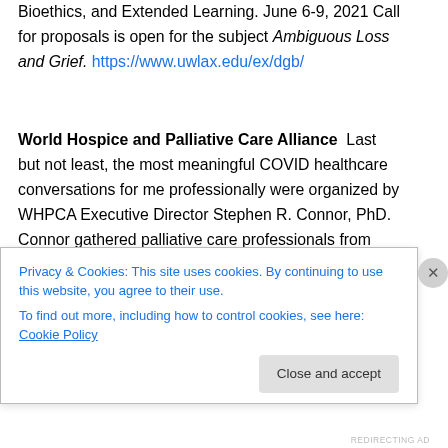Bioethics, and Extended Learning. June 6-9, 2021  Call for proposals is open for the subject Ambiguous Loss and Grief. https://www.uwlax.edu/ex/dgb/
World Hospice and Palliative Care Alliance  Last but not least, the most meaningful COVID healthcare conversations for me professionally were organized by WHPCA Executive Director Stephen R. Connor, PhD. Connor gathered palliative care professionals from Africa, Asia, Europe, Latin America, and the U.S. to review challenges related to caring, pain management, policy, resources, and serving during COVID. The series was on-
Privacy & Cookies: This site uses cookies. By continuing to use this website, you agree to their use.
To find out more, including how to control cookies, see here: Cookie Policy
Close and accept
REDIRECTING AD